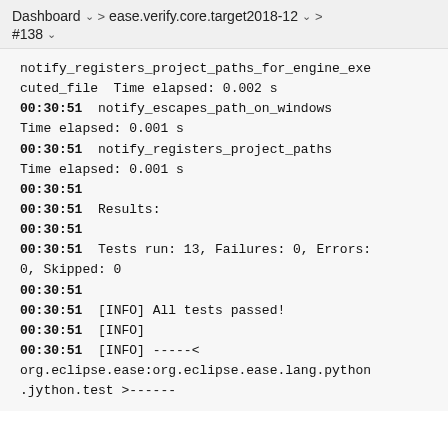Dashboard > ease.verify.core.target2018-12 > #138
notify_registers_project_paths_for_engine_executed_file  Time elapsed: 0.002 s
00:30:51  notify_escapes_path_on_windows
Time elapsed: 0.001 s
00:30:51  notify_registers_project_paths
Time elapsed: 0.001 s
00:30:51
00:30:51  Results:
00:30:51
00:30:51  Tests run: 13, Failures: 0, Errors: 0, Skipped: 0
00:30:51
00:30:51  [INFO] All tests passed!
00:30:51  [INFO]
00:30:51  [INFO] -----< org.eclipse.ease:org.eclipse.ease.lang.python.jython.test >------